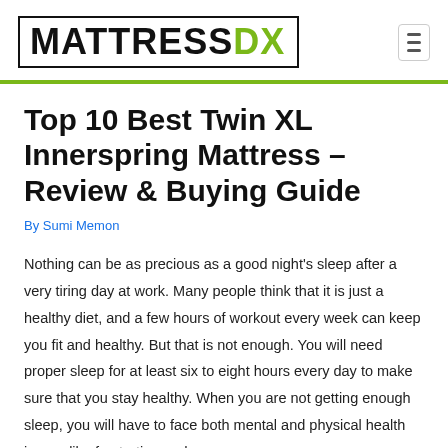MATTRESSDX
Top 10 Best Twin XL Innerspring Mattress – Review & Buying Guide
By Sumi Memon
Nothing can be as precious as a good night's sleep after a very tiring day at work. Many people think that it is just a healthy diet, and a few hours of workout every week can keep you fit and healthy. But that is not enough. You will need proper sleep for at least six to eight hours every day to make sure that you stay healthy. When you are not getting enough sleep, you will have to face both mental and physical health issues like frustration and